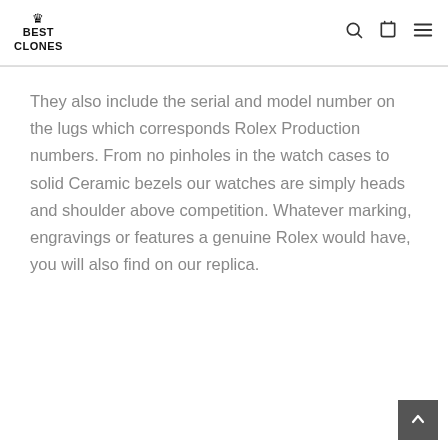BEST CLONES
They also include the serial and model number on the lugs which corresponds Rolex Production numbers. From no pinholes in the watch cases to solid Ceramic bezels our watches are simply heads and shoulder above competition. Whatever marking, engravings or features a genuine Rolex would have, you will also find on our replica.